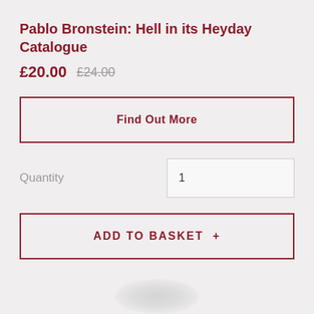Pablo Bronstein: Hell in its Heyday Catalogue
£20.00  £24.00
Find Out More
Quantity  1
ADD TO BASKET  +